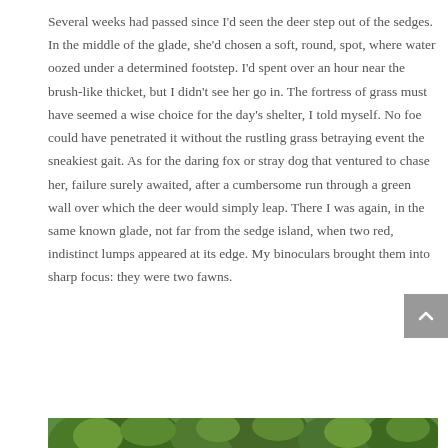Several weeks had passed since I'd seen the deer step out of the sedges. In the middle of the glade, she'd chosen a soft, round, spot, where water oozed under a determined footstep. I'd spent over an hour near the brush-like thicket, but I didn't see her go in. The fortress of grass must have seemed a wise choice for the day's shelter, I told myself. No foe could have penetrated it without the rustling grass betraying event the sneakiest gait. As for the daring fox or stray dog that ventured to chase her, failure surely awaited, after a cumbersome run through a green wall over which the deer would simply leap. There I was again, in the same known glade, not far from the sedge island, when two red, indistinct lumps appeared at its edge. My binoculars brought them into sharp focus: they were two fawns.
[Figure (photo): Photograph of a dense green woodland or forest glade with lush foliage and trees.]